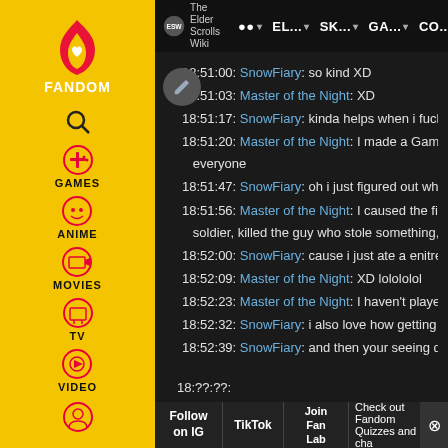The Elder Scrolls Wiki | AA | EL... | SK... | GA... | CO...
18:51:00: SnowFiary: so kind XD
18:51:03: Master of the Night: XD
18:51:17: SnowFiary: kinda helps when i fuck u
18:51:20: Master of the Night: I made a Game everyone
18:51:47: SnowFiary: oh i just figured out why
18:51:56: Master of the Night: I caused the first soldier, killed the guy who stole something, wa
18:52:00: SnowFiary: cause i just ate a enitre s
18:52:09: Master of the Night: XD lolololol
18:52:23: Master of the Night: I haven't played
18:52:32: SnowFiary: i also love how getting dr
18:52:39: SnowFiary: and then your seeing do
Follow on IG | TikTok | Join Fan Lab | Check out Fandom Quizzes and cha